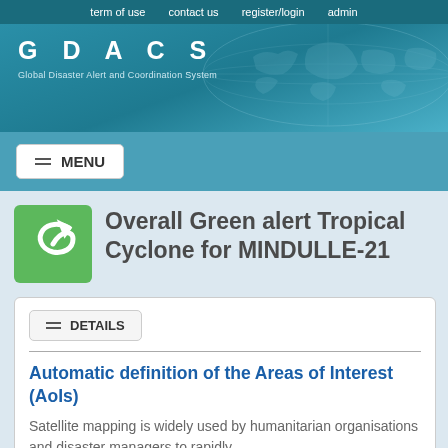term of use   contact us   register/login   admin
[Figure (logo): GDACS - Global Disaster Alert and Coordination System logo with world map background]
Overall Green alert Tropical Cyclone for MINDULLE-21
DETAILS
Automatic definition of the Areas of Interest (AoIs)
Satellite mapping is widely used by humanitarian organisations and disaster managers to rapidly